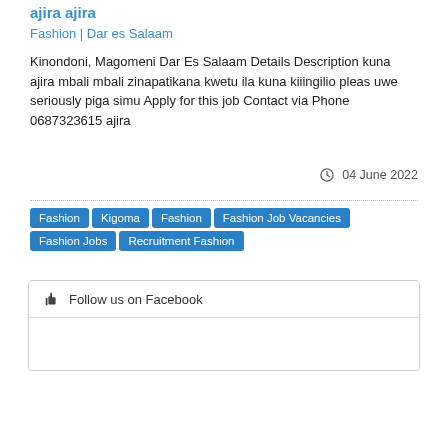ajira ajira
Fashion | Dar es Salaam
Kinondoni, Magomeni Dar Es Salaam Details Description kuna ajira mbali mbali zinapatikana kwetu ila kuna kiiingilio pleas uwe seriously piga simu Apply for this job Contact via Phone 0687323615 ajira
04 June 2022
Fashion
Kigoma
Fashion
Fashion Job Vacancies
Fashion Jobs
Recruitment Fashion
Follow us on Facebook